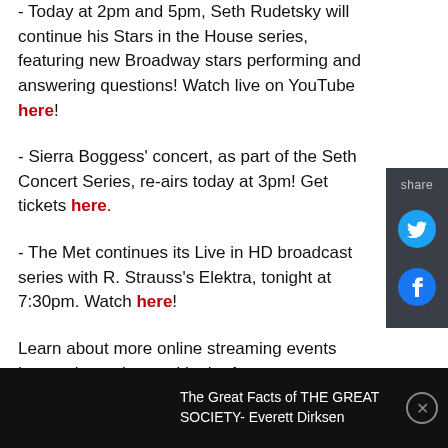- Today at 2pm and 5pm, Seth Rudetsky will continue his Stars in the House series, featuring new Broadway stars performing and answering questions! Watch live on YouTube here!
- Sierra Boggess' concert, as part of the Seth Concert Series, re-airs today at 3pm! Get tickets here.
- The Met continues its Live in HD broadcast series with R. Strauss's Elektra, tonight at 7:30pm. Watch here!
Learn about more online streaming events happening today, and in the future, on our streaming
The Great Facts of THE GREAT SOCIETY- Everett Dirksen